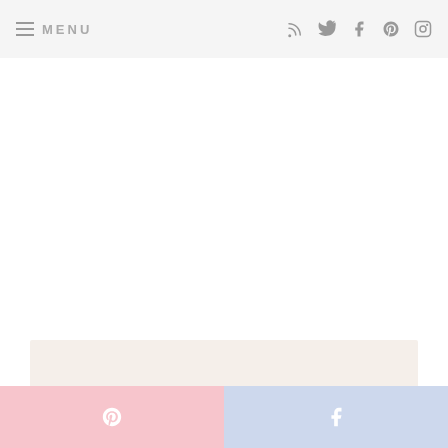MENU
[Figure (other): White blank content area]
[Figure (other): Beige/cream colored card or image area at bottom of content]
[Figure (other): Pinterest share button (pink background with Pinterest logo)]
[Figure (other): Facebook share button (light blue background with Facebook logo)]